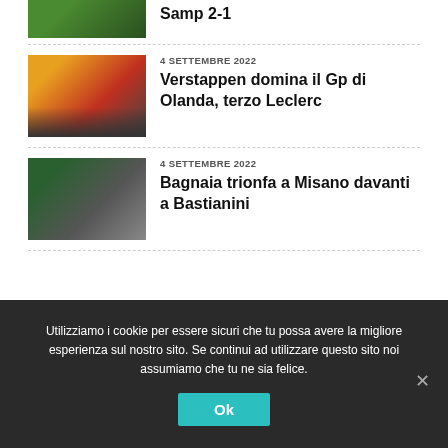[Figure (photo): Partial sports image at top of feed (cropped)]
Samp 2-1
[Figure (photo): Formula 1 car racing with orange-clad crowd at Dutch Grand Prix]
4 SETTEMBRE 2022
Verstappen domina il Gp di Olanda, terzo Leclerc
[Figure (photo): MotoGP motorcycle racing at Misano circuit]
4 SETTEMBRE 2022
Bagnaia trionfa a Misano davanti a Bastianini
Utilizziamo i cookie per essere sicuri che tu possa avere la migliore esperienza sul nostro sito. Se continui ad utilizzare questo sito noi assumiamo che tu ne sia felice.